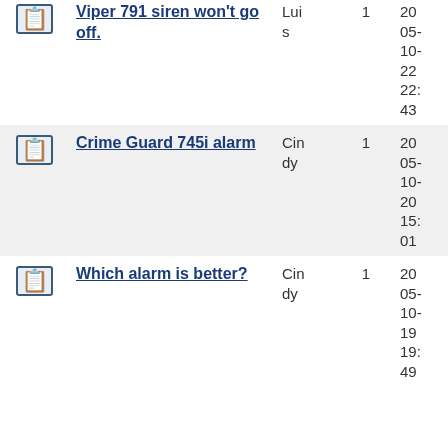|  | Topic | Author | Replies | Last Post |
| --- | --- | --- | --- | --- |
| [icon] | Viper 791 siren won't go off. | Luis | 1 | 2005-10-22 22:43 |
| [icon] | Crime Guard 745i alarm | Cindy | 1 | 2005-10-20 15:01 |
| [icon] | Which alarm is better? | Cindy | 1 | 2005-10-19 19:49 |